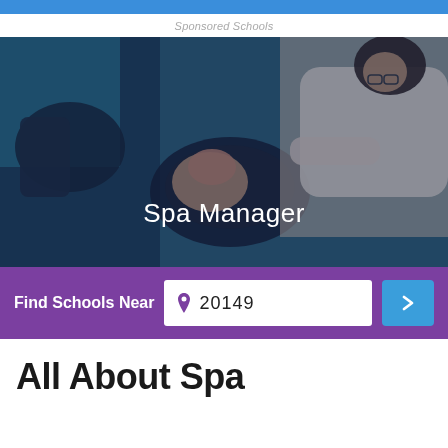Sponsored Schools
[Figure (photo): Overhead view of a hair salon professional washing/treating a client's hair at a salon sink, with blue teal overlay tint. Text 'Spa Manager' overlaid at bottom center in white.]
Find Schools Near 20149
All About Spa